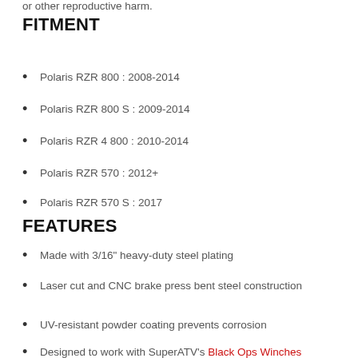or other reproductive harm.
FITMENT
Polaris RZR 800 : 2008-2014
Polaris RZR 800 S : 2009-2014
Polaris RZR 4 800 : 2010-2014
Polaris RZR 570 : 2012+
Polaris RZR 570 S : 2017
FEATURES
Made with 3/16" heavy-duty steel plating
Laser cut and CNC brake press bent steel construction
UV-resistant powder coating prevents corrosion
Designed to work with SuperATV's Black Ops Winches
...